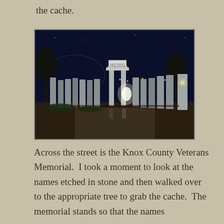the cache.
[Figure (photo): Night-time photograph of the Knox County Veterans Memorial, showing illuminated granite slabs/pillars arranged in rows with an arched entrance sign reading 'KNOX COUNTY VETERANS MEMORIAL'. Holiday lights are strung in the background trees.]
Across the street is the Knox County Veterans Memorial.  I took a moment to look at the names etched in stone and then walked over to the appropriate tree to grab the cache.  The memorial stands so that the names...